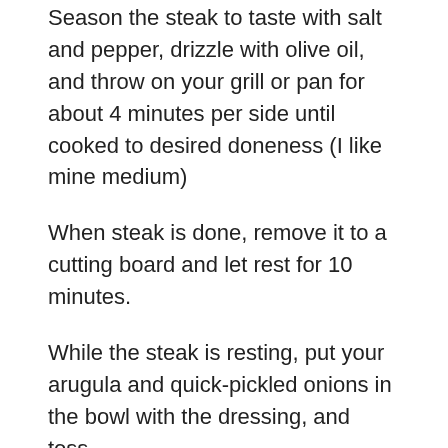Season the steak to taste with salt and pepper, drizzle with olive oil, and throw on your grill or pan for about 4 minutes per side until cooked to desired doneness (I like mine medium)
When steak is done, remove it to a cutting board and let rest for 10 minutes.
While the steak is resting, put your arugula and quick-pickled onions in the bowl with the dressing, and toss.
Once steak has rested, carve against the grain in thick slices, and plate on a large platter. Top with the greens and serve.
Notes
This makes enough salad for a large dinner for two, or 4